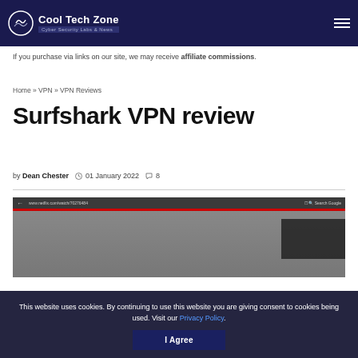Cool Tech Zone — Cyber Security Labs & News
If you purchase via links on our site, we may receive affiliate commissions.
Home » VPN » VPN Reviews
Surfshark VPN review
by Dean Chester  01 January 2022  8
[Figure (screenshot): Browser screenshot showing Netflix website playing video content]
This website uses cookies. By continuing to use this website you are giving consent to cookies being used. Visit our Privacy Policy.
I Agree